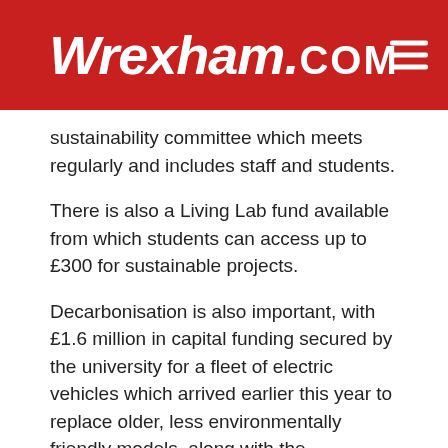Wrexham.COM
sustainability committee which meets regularly and includes staff and students.
There is also a Living Lab fund available from which students can access up to £300 for sustainable projects.
Decarbonisation is also important, with £1.6 million in capital funding secured by the university for a fleet of electric vehicles which arrived earlier this year to replace older, less environmentally friendly models, along with the installation of electric vehicle charging points across the various campuses.